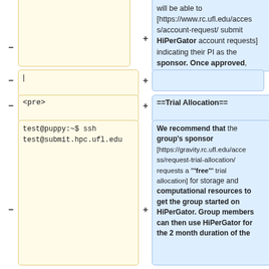will be able to [https://www.rc.ufl.edu/access/account-request/ submit HiPerGator account requests] indicating their PI as the sponsor. Once approved, their linux accounts will be created.
|
<pre>
==Trial Allocation==
test@puppy:~$ ssh test@submit.hpc.ufl.edu
We recommend that the group's sponsor [https://gravity.rc.ufl.edu/access/request-trial-allocation/ requests a '''free''' trial allocation] for storage and computational resources to get the group started on HiPerGator. Group members can then use HiPerGator for the 2 month duration of the